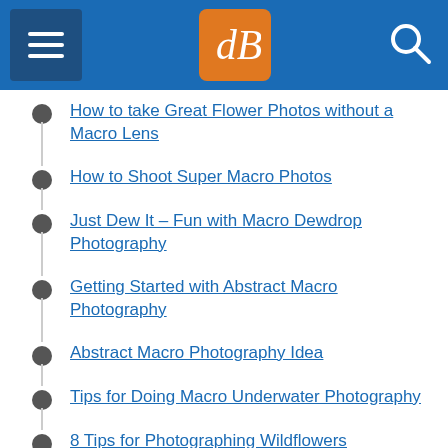dPS navigation header
How to take Great Flower Photos without a Macro Lens
How to Shoot Super Macro Photos
Just Dew It – Fun with Macro Dewdrop Photography
Getting Started with Abstract Macro Photography
Abstract Macro Photography Idea
Tips for Doing Macro Underwater Photography
8 Tips for Photographing Wildflowers
CREATIVE TECHNIQU…